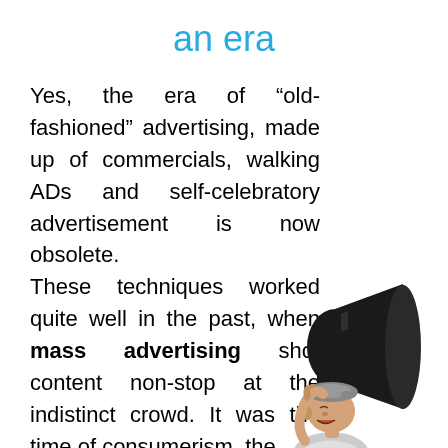an era
Yes, the era of “old-fashioned” advertising, made up of commercials, walking ADs and self-celebratory advertisement is now obsolete.
These techniques worked quite well in the past, when mass advertising shot content non-stop at the indistinct crowd. It was the time of consumerism, the
[Figure (photo): Black and white vintage photo of a young boy wearing a newsboy cap, shouting into a large black megaphone/bullhorn.]